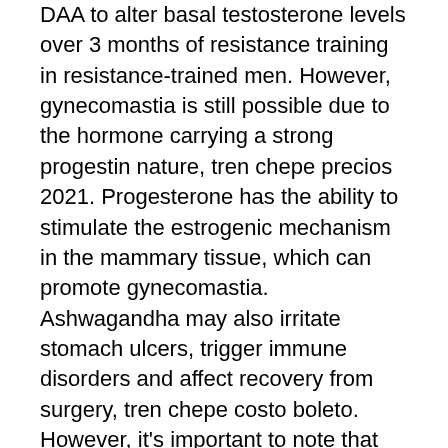DAA to alter basal testosterone levels over 3 months of resistance training in resistance-trained men. However, gynecomastia is still possible due to the hormone carrying a strong progestin nature, tren chepe precios 2021. Progesterone has the ability to stimulate the estrogenic mechanism in the mammary tissue, which can promote gynecomastia. Ashwagandha may also irritate stomach ulcers, trigger immune disorders and affect recovery from surgery, tren chepe costo boleto. However, it's important to note that the long-term effects of ashwagandha are unknown. A tal proposito avevo preso ogni tanto degli analgesici leggeri mi raccomando, parlatene sempre prima con loncologo, tren chepe wikipedia. Viene fornito in strisce di cartone e plastica con 20 pillole ciascuna. In terms of gains; everybody is different. However here's a rough guide: 4 week dbol cycle = 20lbs 8 week dbol cycle = 35lbs, tren chepe